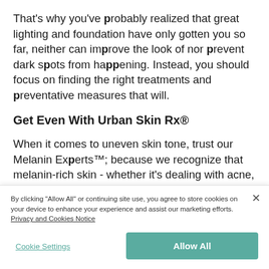That's why you've probably realized that great lighting and foundation have only gotten you so far, neither can improve the look of nor prevent dark spots from happening. Instead, you should focus on finding the right treatments and preventative measures that will.
Get Even With Urban Skin Rx®
When it comes to uneven skin tone, trust our Melanin Experts™; because we recognize that melanin-rich skin - whether it's dealing with acne, aging or dry skin - is always more prone to uneven skin and hyperpigmentation. That's why we've
By clicking "Allow All" or continuing site use, you agree to store cookies on your device to enhance your experience and assist our marketing efforts. Privacy and Cookies Notice
Cookie Settings
Allow All